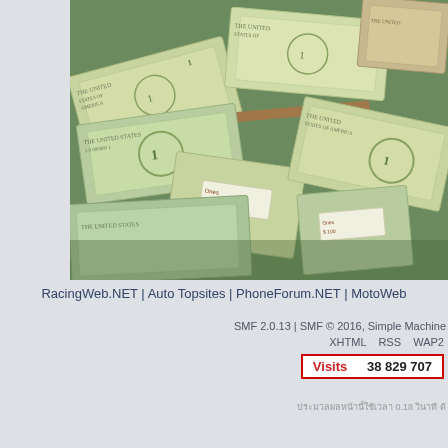[Figure (photo): A pile of US one-dollar bills scattered and stacked in bundles wrapped with paper bands reading 'Ones $100']
RacingWeb.NET | Auto Topsites | PhoneForum.NET | MotoWeb
SMF 2.0.13 | SMF © 2016, Simple Machine
XHTML   RSS   WAP2
Visits   38 829 707
0.18